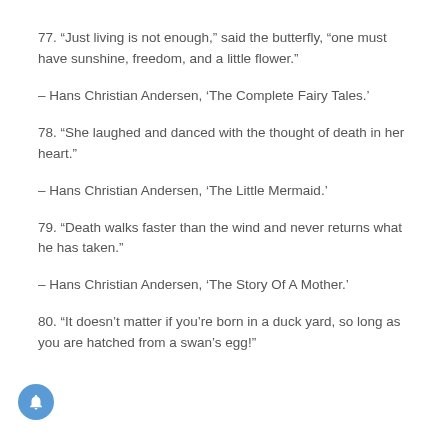77. “Just living is not enough,” said the butterfly, “one must have sunshine, freedom, and a little flower.”
– Hans Christian Andersen, ‘The Complete Fairy Tales.’
78. “She laughed and danced with the thought of death in her heart.”
– Hans Christian Andersen, ‘The Little Mermaid.’
79. “Death walks faster than the wind and never returns what he has taken.”
– Hans Christian Andersen, ‘The Story Of A Mother.’
80. “It doesn’t matter if you’re born in a duck yard, so long as you are hatched from a swan’s egg!”